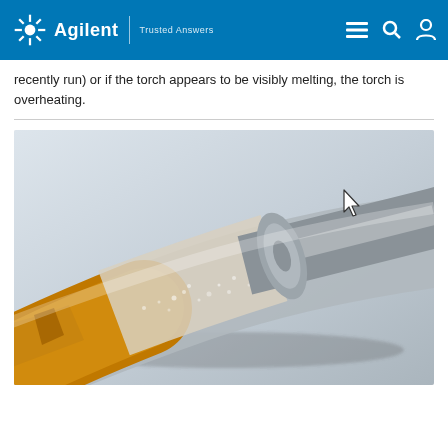Agilent | Trusted Answers
recently run) or if the torch appears to be visibly melting, the torch is overheating.
[Figure (photo): Close-up photograph of an ICP torch showing visible yellowing/browning and devitrification (frosted, crystalline texture) on the quartz glass body, indicating torch overheating damage. A cursor arrow is visible in the upper right of the image.]